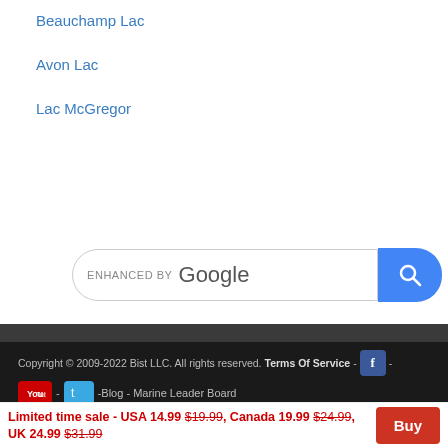Beauchamp Lac
Avon Lac
Lac McGregor
[Figure (screenshot): Google search bar with 'ENHANCED BY Google' label and blue search button with magnifying glass icon]
Copyright © 2009-2022 Bist LLC. All rights reserved. Terms Of Service - [Facebook icon] - [YouTube icon] - [Twitter icon] -Blog - Marine Leader Board
"NOAA®" and the NOAA ® emblem are registered trademarks of the National
Limited time sale - USA 14.99 $19.99, Canada 19.99 $24.99, UK 24.99 $31.99